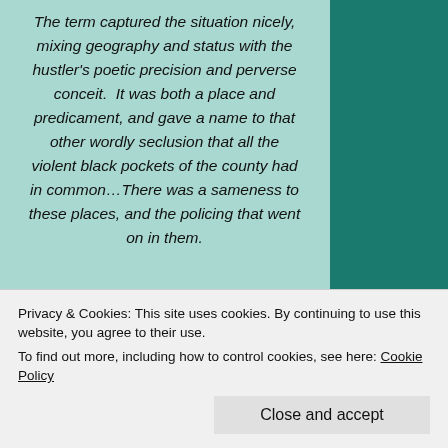The term captured the situation nicely, mixing geography and status with the hustler's poetic precision and perverse conceit.  It was both a place and predicament, and gave a name to that other wordly seclusion that all the violent black pockets of the county had in common…There was a sameness to these places, and the policing that went on in them.
Leovy looks at the LA police department and its individual homicide investigators, as well as at the offenders, their victims and at witnesses.  Tennelle's murder is terrible but it is not the only sad story you read about. The men shot everyday
Privacy & Cookies: This site uses cookies. By continuing to use this website, you agree to their use.
To find out more, including how to control cookies, see here: Cookie Policy
Close and accept